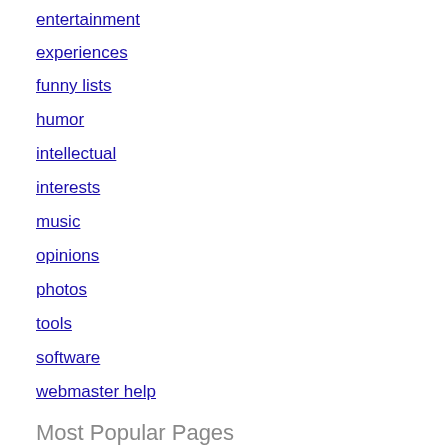entertainment
experiences
funny lists
humor
intellectual
interests
music
opinions
photos
tools
software
webmaster help
Most Popular Pages
Riddles